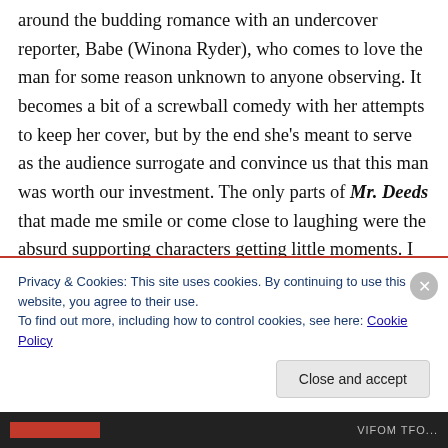around the budding romance with an undercover reporter, Babe (Winona Ryder), who comes to love the man for some reason unknown to anyone observing. It becomes a bit of a screwball comedy with her attempts to keep her cover, but by the end she's meant to serve as the audience surrogate and convince us that this man was worth our investment. The only parts of Mr. Deeds that made me smile or come close to laughing were the absurd supporting characters getting little moments. I loved Steve Buscemi, who became a Sandler regular, as a crazy-eyed town weirdo spouting bon mots like, “Time heals all
Privacy & Cookies: This site uses cookies. By continuing to use this website, you agree to their use.
To find out more, including how to control cookies, see here: Cookie Policy
Close and accept
VIFOM TFO...